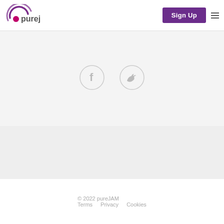[Figure (logo): pureJAM logo with circular icon and text]
Sign Up
[Figure (infographic): Facebook and Twitter social media icons (circular outlines with f and bird symbols)]
© 2022 pureJAM
Terms   Privacy   Cookies